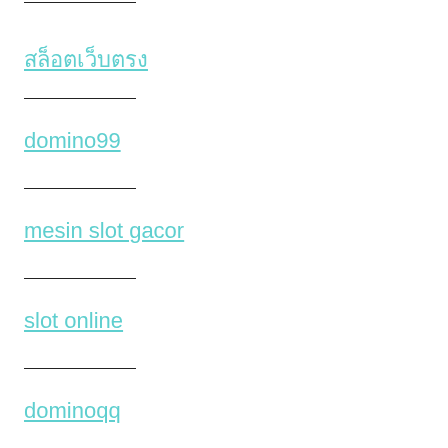สล็อตเว็บตรง
domino99
mesin slot gacor
slot online
dominoqq